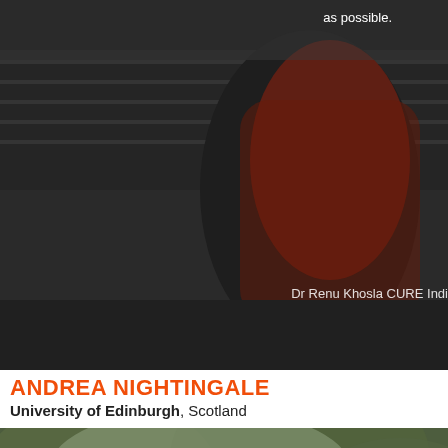[Figure (photo): Dark outdoor photo showing a person in a red jacket near a road with a fence, with text overlay 'as possible.' at top right and 'Dr Renu Khosla CURE Indi' at bottom right]
as possible.
Dr Renu Khosla CURE Indi
ANDREA NIGHTINGALE
University of Edinburgh, Scotland
[Figure (photo): Outdoor photo of a woman with long light hair, blurred background of trees and greenery]